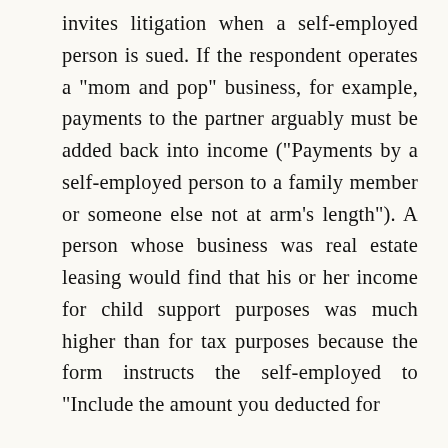invites litigation when a self-employed person is sued. If the respondent operates a "mom and pop" business, for example, payments to the partner arguably must be added back into income ("Payments by a self-employed person to a family member or someone else not at arm's length"). A person whose business was real estate leasing would find that his or her income for child support purposes was much higher than for tax purposes because the form instructs the self-employed to "Include the amount you deducted for